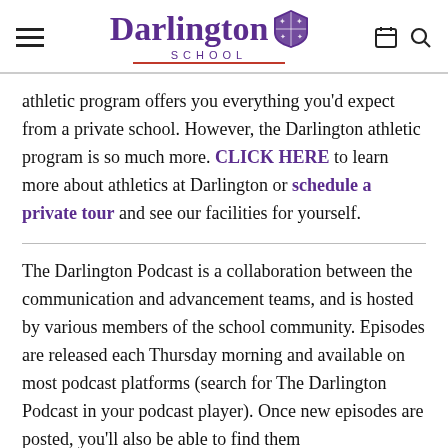Darlington School
athletic program offers you everything you'd expect from a private school. However, the Darlington athletic program is so much more. CLICK HERE to learn more about athletics at Darlington or schedule a private tour and see our facilities for yourself.
The Darlington Podcast is a collaboration between the communication and advancement teams, and is hosted by various members of the school community. Episodes are released each Thursday morning and available on most podcast platforms (search for The Darlington Podcast in your podcast player). Once new episodes are posted, you'll also be able to find them